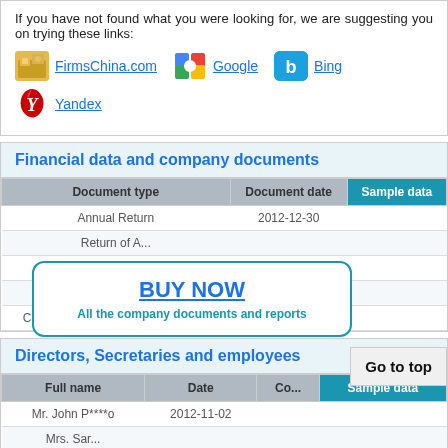If you have not found what you were looking for, we are suggesting you on trying these links:
FirmsChina.com
Google
Bing
Yandex
Financial data and company documents
| Document type | Document date | Sample data |
| --- | --- | --- |
| Annual Return | 2012-12-30 |  |
| Return of A... |  |  |
| Change o... |  |  |
| Articles... |  |  |
| Company incorporation documents | 2010-01-22 |  |
BUY NOW
All the company documents and reports
Directors, Secretaries and employees
Go to top
| Full name | Date | Co... | Sample data |
| --- | --- | --- | --- |
| Mr. John P****o | 2012-11-02 |  |  |
| Mrs. Sar... |  |  |  |
| Mr. Greg... |  |  |  |
Login or Register
And get access to useful company information.